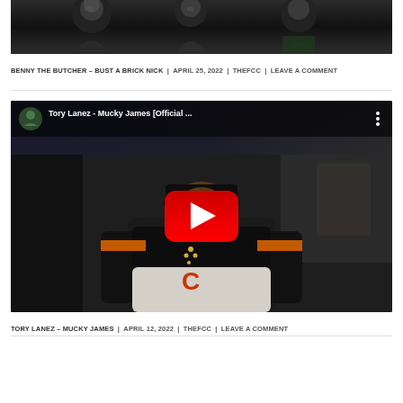[Figure (screenshot): Top portion of a music video thumbnail showing people smiling in a dark setting]
BENNY THE BUTCHER – BUST A BRICK NICK | APRIL 25, 2022 | THEFCC | LEAVE A COMMENT
[Figure (screenshot): YouTube video embed showing Tory Lanez - Mucky James [Official ...] with a man wearing an LA cap and varsity jacket, red YouTube play button in center]
TORY LANEZ – MUCKY JAMES | APRIL 12, 2022 | THEFCC | LEAVE A COMMENT